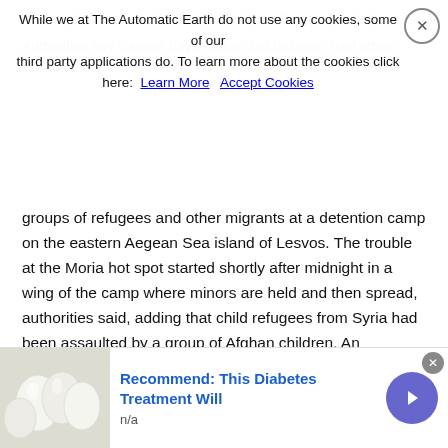While we at The Automatic Earth do not use any cookies, some of our third party applications do. To learn more about the cookies click here: Learn More  Accept Cookies
Overnight Clashes At Lesvos Refugee Center (Kath.)
Authorities say clashes have broken out between rival ethnic groups of refugees and other migrants at a detention camp on the eastern Aegean Sea island of Lesvos. The trouble at the Moria hot spot started shortly after midnight in a wing of the camp where minors are held and then spread, authorities said, adding that child refugees from Syria had been assaulted by a group of Afghan children. An unspecified number of children were injured while about 40 of them escaped into nearby fields. Order was restored around 4 a.m. after intervention by riot police. Authorities were trying to locate the missing children. Nearly 5,000 migrants and refugees are currently sheltered on the islands of Lesvos. Local authorities are demanding immediate government action to decongest overcrowded migrant facilities.
Read more …
Recommend: This Diabetes Treatment Will
n/a